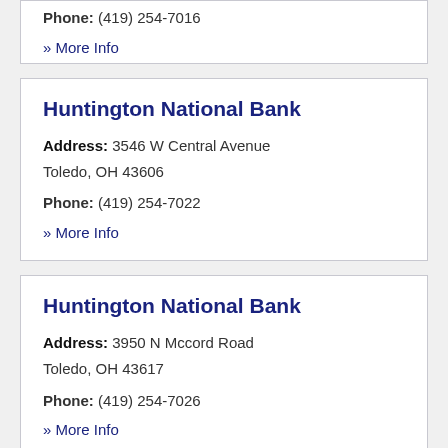Phone: (419) 254-7016
» More Info
Huntington National Bank
Address: 3546 W Central Avenue Toledo, OH 43606
Phone: (419) 254-7022
» More Info
Huntington National Bank
Address: 3950 N Mccord Road Toledo, OH 43617
Phone: (419) 254-7026
» More Info